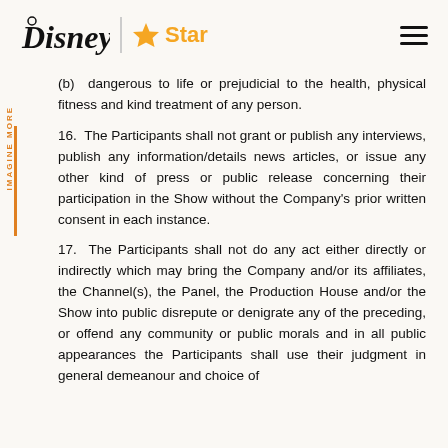Disney | Star — navigation header
(b) dangerous to life or prejudicial to the health, physical fitness and kind treatment of any person.
16. The Participants shall not grant or publish any interviews, publish any information/details news articles, or issue any other kind of press or public release concerning their participation in the Show without the Company's prior written consent in each instance.
17. The Participants shall not do any act either directly or indirectly which may bring the Company and/or its affiliates, the Channel(s), the Panel, the Production House and/or the Show into public disrepute or denigrate any of the preceding, or offend any community or public morals and in all public appearances the Participants shall use their judgment in general demeanour and choice of